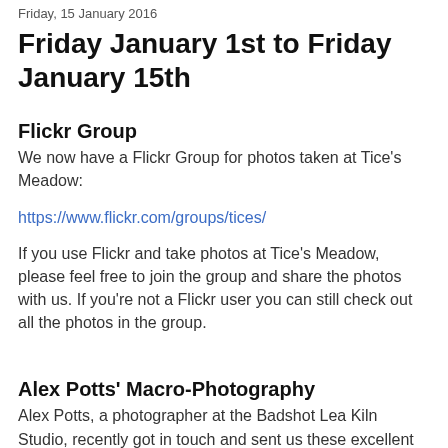Friday, 15 January 2016
Friday January 1st to Friday January 15th
Flickr Group
We now have a Flickr Group for photos taken at Tice's Meadow:
https://www.flickr.com/groups/tices/
If you use Flickr and take photos at Tice's Meadow, please feel free to join the group and share the photos with us. If you're not a Flickr user you can still check out all the photos in the group.
Alex Potts' Macro-Photography
Alex Potts, a photographer at the Badshot Lea Kiln Studio, recently got in touch and sent us these excellent photos taken on site last July.